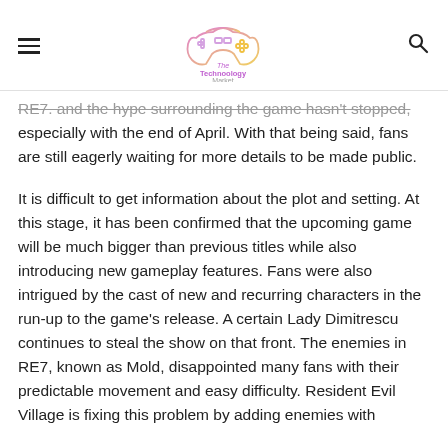The Technology Market
RE7. and the hype surrounding the game hasn't stopped, especially with the end of April. With that being said, fans are still eagerly waiting for more details to be made public.
It is difficult to get information about the plot and setting. At this stage, it has been confirmed that the upcoming game will be much bigger than previous titles while also introducing new gameplay features. Fans were also intrigued by the cast of new and recurring characters in the run-up to the game's release. A certain Lady Dimitrescu continues to steal the show on that front. The enemies in RE7, known as Mold, disappointed many fans with their predictable movement and easy difficulty. Resident Evil Village is fixing this problem by adding enemies with